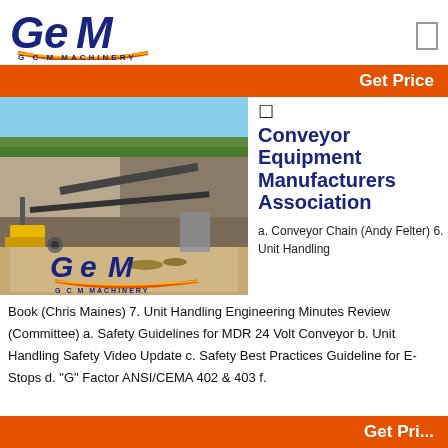[Figure (logo): GCM Machinery logo with stylized GEM lettering in dark blue and orange/gold underline, with 'G C M  MACHINERY' subtitle]
[Figure (other): Small square icon/menu button in top right]
Get Price
[Figure (photo): Photograph of an outdoor mining/quarry site with conveyor equipment, rock face, machinery, and GCM Machinery logo overlay at bottom]
☐
Conveyor Equipment Manufacturers Association
a. Conveyor Chain (Andy Felter) 6. Unit Handling
Book (Chris Maines) 7. Unit Handling Engineering Minutes Review (Committee) a. Safety Guidelines for MDR 24 Volt Conveyor b. Unit Handling Safety Video Update c. Safety Best Practices Guideline for E-Stops d. "G" Factor ANSI/CEMA 402 & 403 f.
Get Pri...